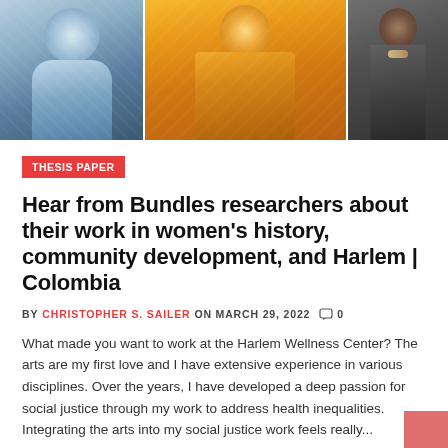[Figure (photo): Three-panel photo strip showing three people: left panel shows a person in blue patterned clothing, center panel shows a person in orange/yellow sweater with arms crossed, right panel shows a partial view of a person in dark clothing with a necklace]
THESIS PAPER
Hear from Bundles researchers about their work in women's history, community development, and Harlem | Colombia
BY CHRISTOPHER S. SAILER ON MARCH 29, 2022  0
What made you want to work at the Harlem Wellness Center? The arts are my first love and I have extensive experience in various disciplines. Over the years, I have developed a deep passion for social justice through my work to address health inequalities. Integrating the arts into my social justice work feels really...
READ MORE